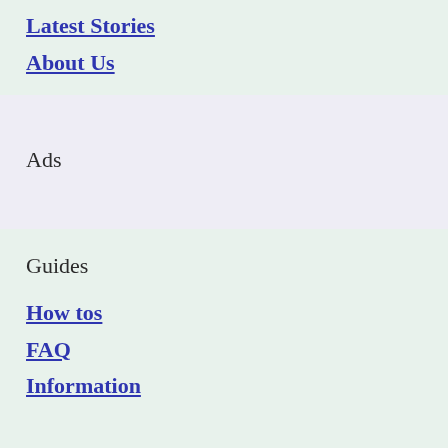Latest Stories
About Us
Ads
Guides
How tos
FAQ
Information